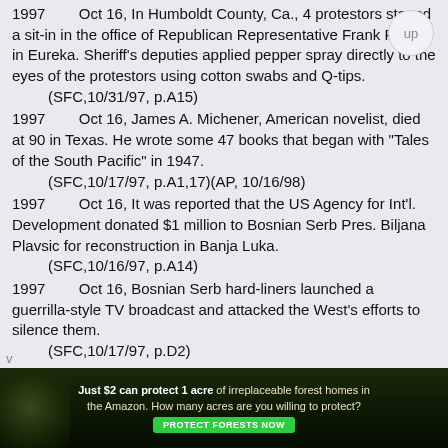1997    Oct 16, In Humboldt County, Ca., 4 protestors staged a sit-in in the office of Republican Representative Frank Riggs in Eureka. Sheriff's deputies applied pepper spray directly to the eyes of the protestors using cotton swabs and Q-tips.
    (SFC,10/31/97, p.A15)
1997    Oct 16, James A. Michener, American novelist, died at 90 in Texas. He wrote some 47 books that began with "Tales of the South Pacific" in 1947.
    (SFC,10/17/97, p.A1,17)(AP, 10/16/98)
1997    Oct 16, It was reported that the US Agency for Int'l. Development donated $1 million to Bosnian Serb Pres. Biljana Plavsic for reconstruction in Banja Luka.
    (SFC,10/16/97, p.A14)
1997    Oct 16, Bosnian Serb hard-liners launched a guerrilla-style TV broadcast and attacked the West's efforts to silence them.
    (SFC,10/17/97, p.D2)
1997    Oct 17, The new $100 million New...
[Figure (infographic): Advertisement banner: 'Just $2 can protect 1 acre of irreplaceable forest homes in the Amazon. How many acres are you willing to protect?' with a green PROTECT FORESTS NOW button, dark forest background.]